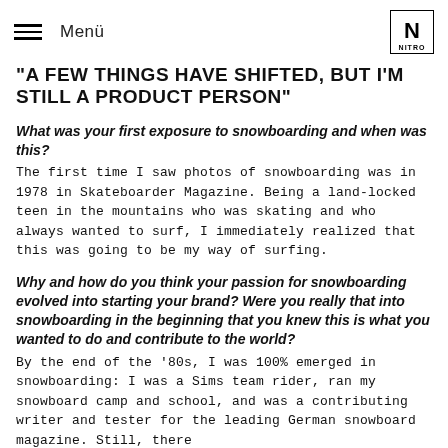Menü
"A FEW THINGS HAVE SHIFTED, BUT I'M STILL A PRODUCT PERSON"
What was your first exposure to snowboarding and when was this?
The first time I saw photos of snowboarding was in 1978 in Skateboarder Magazine. Being a land-locked teen in the mountains who was skating and who always wanted to surf, I immediately realized that this was going to be my way of surfing.
Why and how do you think your passion for snowboarding evolved into starting your brand? Were you really that into snowboarding in the beginning that you knew this is what you wanted to do and contribute to the world?
By the end of the '80s, I was 100% emerged in snowboarding: I was a Sims team rider, ran my snowboard camp and school, and was a contributing writer and tester for the leading German snowboard magazine. Still, there